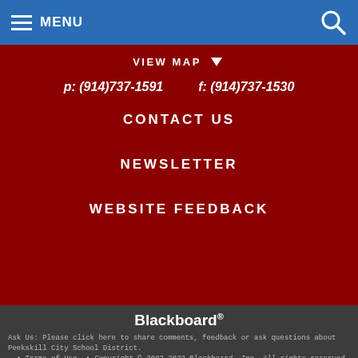MENU
VIEW MAP
p: (914)737-1591   f: (914)737-1530
CONTACT US
NEWSLETTER
WEBSITE FEEDBACK
Blackboard
Ask Us: Please click here to share comments, feedback or ask questions about Peekskill City School District.
  • Terms of Use  •  Copyright © 2002-2022 Blackboard, Inc. All rights reserved.
Blackboard Web Community Manager Privacy Policy (Updated)
BACK TO TOP
View Full Site